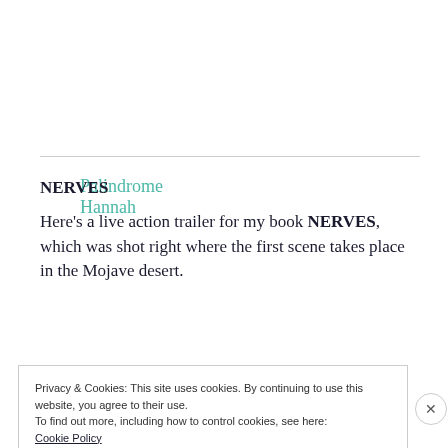Palindrome Hannah
NERVES
Here's a live action trailer for my book NERVES, which was shot right where the first scene takes place in the Mojave desert.
Privacy & Cookies: This site uses cookies. By continuing to use this website, you agree to their use.
To find out more, including how to control cookies, see here:
Cookie Policy
Close and accept